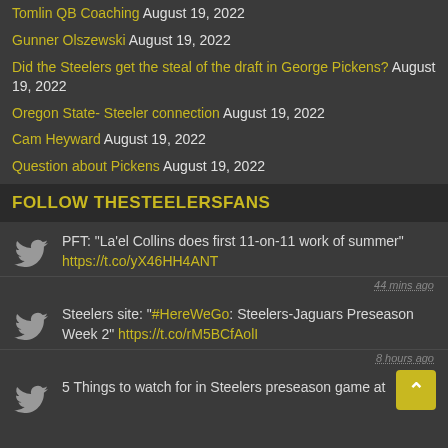Tomlin QB Coaching August 19, 2022
Gunner Olszewski August 19, 2022
Did the Steelers get the steal of the draft in George Pickens? August 19, 2022
Oregon State- Steeler connection August 19, 2022
Cam Heyward August 19, 2022
Question about Pickens August 19, 2022
FOLLOW THESTEELERSFANS
PFT: "La'el Collins does first 11-on-11 work of summer" https://t.co/yX46HH4ANT
44 mins ago
Steelers site: "#HereWeGo: Steelers-Jaguars Preseason Week 2" https://t.co/rM5BCfAolI
8 hours ago
5 Things to watch for in Steelers preseason game at